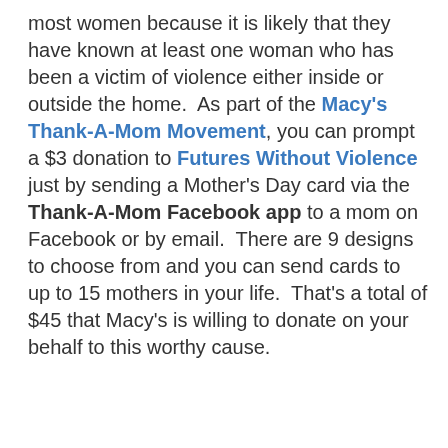most women because it is likely that they have known at least one woman who has been a victim of violence either inside or outside the home.  As part of the Macy's Thank-A-Mom Movement, you can prompt a $3 donation to Futures Without Violence just by sending a Mother's Day card via the Thank-A-Mom Facebook app to a mom on Facebook or by email.  There are 9 designs to choose from and you can send cards to up to 15 mothers in your life.  That's a total of $45 that Macy's is willing to donate on your behalf to this worthy cause.